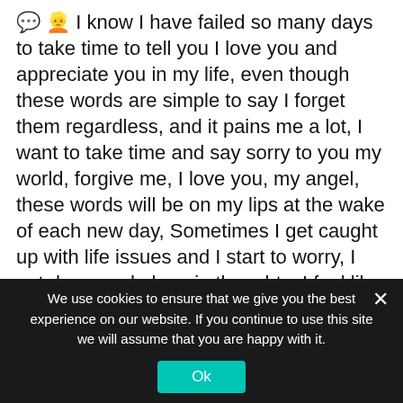💬 👱 I know I have failed so many days to take time to tell you I love you and appreciate you in my life, even though these words are simple to say I forget them regardless, and it pains me a lot, I want to take time and say sorry to you my world, forgive me, I love you, my angel, these words will be on my lips at the wake of each new day, Sometimes I get caught up with life issues and I start to worry, I get down and alone in thoughts, I feel like a lost child without a home, but the kind of love you give me just keeps me hanging on, all I will ever need is you, thank you for being there for me, You are my world, you are my love and always will be mine, you are my first and last, you are my future, my
We use cookies to ensure that we give you the best experience on our website. If you continue to use this site we will assume that you are happy with it.
Ok